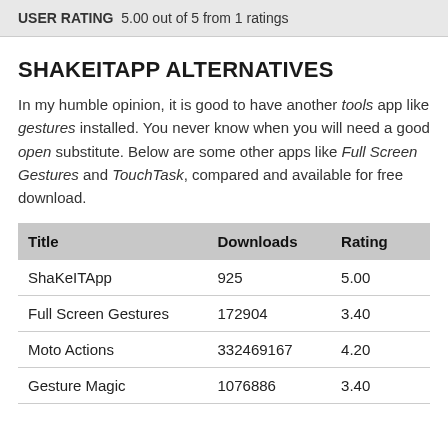USER RATING  5.00 out of 5 from 1 ratings
SHAKEITAPP ALTERNATIVES
In my humble opinion, it is good to have another tools app like gestures installed. You never know when you will need a good open substitute. Below are some other apps like Full Screen Gestures and TouchTask, compared and available for free download.
| Title | Downloads | Rating |
| --- | --- | --- |
| ShaKeITApp | 925 | 5.00 |
| Full Screen Gestures | 172904 | 3.40 |
| Moto Actions | 332469167 | 4.20 |
| Gesture Magic | 1076886 | 3.40 |